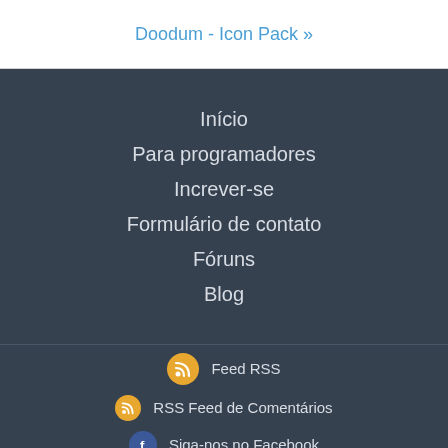Doodum - Icon Pack »
Início
Para programadores
Increver-se
Formulário de contato
Fóruns
Blog
Feed RSS
RSS Feed de Comentários
Siga-nos no Facebook